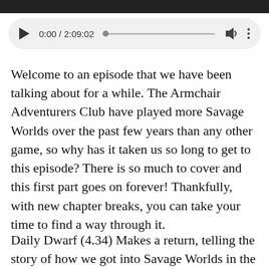[Figure (screenshot): Top strip of a dark image, cropped at top edge of page]
[Figure (screenshot): Audio player UI with play button, time display 0:00 / 2:09:02, progress bar, volume icon, and options dots on a light gray rounded rectangle background]
Welcome to an episode that we have been talking about for a while. The Armchair Adventurers Club have played more Savage Worlds over the past few years than any other game, so why has it taken us so long to get to this episode? There is so much to cover and this first part goes on forever! Thankfully, with new chapter breaks, you can take your time to find a way through it.
Daily Dwarf (4.34) Makes a return, telling the story of how we got into Savage Worlds in the first place and what White Dwarf in its hey day